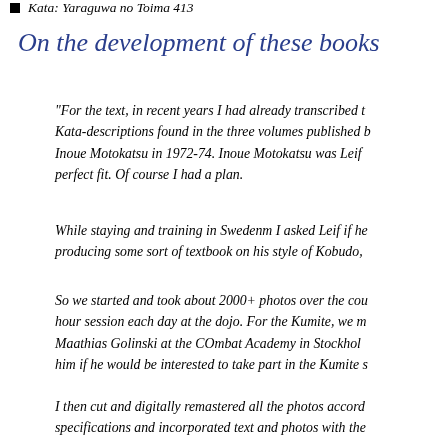■   Kata: Yaraguwa no Toima 413
On the development of these books
“For the text, in recent years I had already transcribed the Kata-descriptions found in the three volumes published by Inoue Motokatsu in 1972-74. Inoue Motokatsu was Leif perfect fit. Of course I had a plan.
While staying and training in Swedenm I asked Leif if he producing some sort of textbook on his style of Kobudo,
So we started and took about 2000+ photos over the cou hour session each day at the dojo. For the Kumite, we m Maathias Golinski at the COmbat Academy in Stockhol him if he would be interested to take part in the Kumite s
I then cut and digitally remastered all the photos accord specifications and incorporated text and photos with the